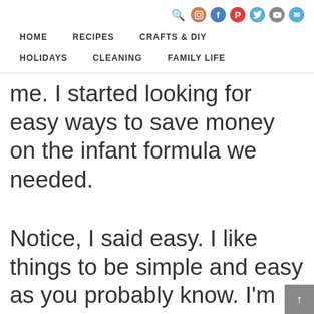HOME   RECIPES   CRAFTS & DIY   HOLIDAYS   CLEANING   FAMILY LIFE
me. I started looking for easy ways to save money on the infant formula we needed.
Notice, I said easy. I like things to be simple and easy as you probably know. I’m not going to spend hours cutting coupons or shopping at multiple stores for the best deals